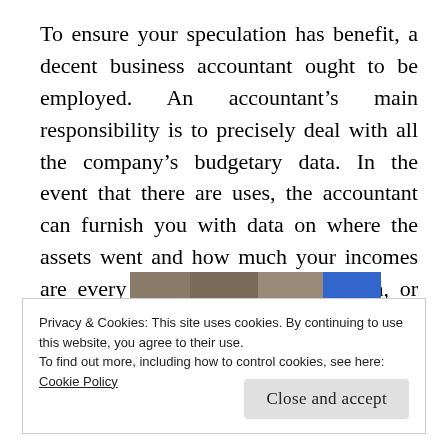To ensure your speculation has benefit, a decent business accountant ought to be employed. An accountant's main responsibility is to precisely deal with all the company's budgetary data. In the event that there are uses, the accountant can furnish you with data on where the assets went and how much your incomes are every week, out of every month, or every year.
[Figure (photo): Partial image strip showing several small thumbnail photos and a blue rectangle, partially visible at the bottom of the main content area.]
Privacy & Cookies: This site uses cookies. By continuing to use this website, you agree to their use.
To find out more, including how to control cookies, see here: Cookie Policy